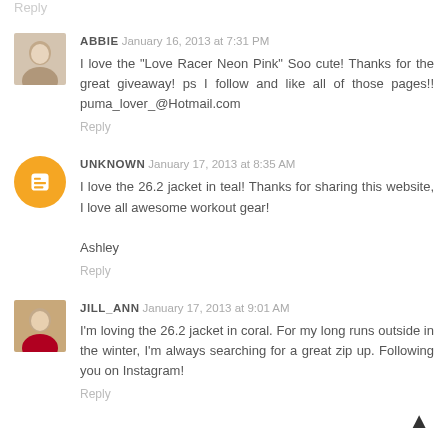Reply
ABBIE January 16, 2013 at 7:31 PM
I love the "Love Racer Neon Pink" Soo cute! Thanks for the great giveaway! ps I follow and like all of those pages!! puma_lover_@Hotmail.com
Reply
UNKNOWN January 17, 2013 at 8:35 AM
I love the 26.2 jacket in teal! Thanks for sharing this website, I love all awesome workout gear!

Ashley
Reply
JILL_ANN January 17, 2013 at 9:01 AM
I'm loving the 26.2 jacket in coral. For my long runs outside in the winter, I'm always searching for a great zip up. Following you on Instagram!
Reply